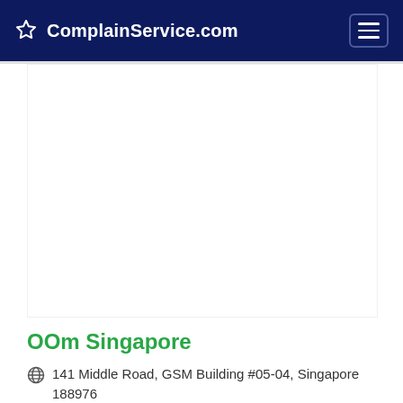ComplainService.com
[Figure (other): Empty white advertisement or placeholder block]
OOm Singapore
141 Middle Road, GSM Building #05-04, Singapore 188976
0.00/5.00   0 reviews